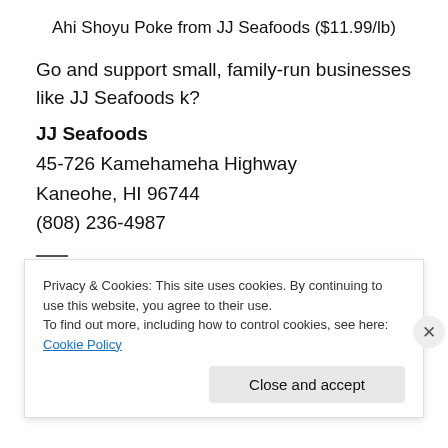Ahi Shoyu Poke from JJ Seafoods ($11.99/lb)
Go and support small, family-run businesses like JJ Seafoods k?
JJ Seafoods
45-726 Kamehameha Highway
Kaneohe, HI 96744
(808) 236-4987
Privacy & Cookies: This site uses cookies. By continuing to use this website, you agree to their use.
To find out more, including how to control cookies, see here: Cookie Policy